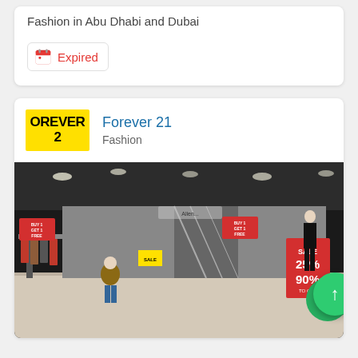Fashion in Abu Dhabi and Dubai
Expired
Forever 21
Fashion
[Figure (photo): Interior of a Forever 21 store showing clothing racks, mannequins dressed in fashion outfits, sale signs reading SALE 25% and 90% OFF, BUY 1 GET 1 FREE banners, and an escalator in the background. A green floating action button with an upward arrow is overlaid in the bottom-right corner.]